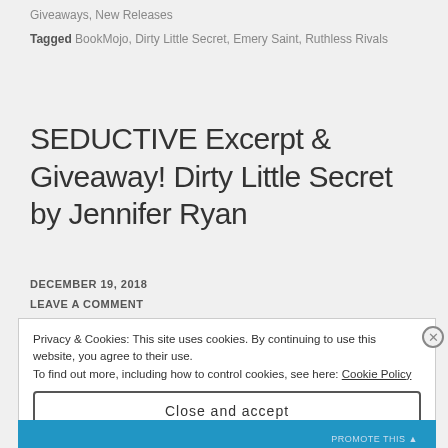Giveaways, New Releases
Tagged BookMojo, Dirty Little Secret, Emery Saint, Ruthless Rivals
SEDUCTIVE Excerpt & Giveaway! Dirty Little Secret by Jennifer Ryan
DECEMBER 19, 2018
LEAVE A COMMENT
Privacy & Cookies: This site uses cookies. By continuing to use this website, you agree to their use.
To find out more, including how to control cookies, see here: Cookie Policy
Close and accept